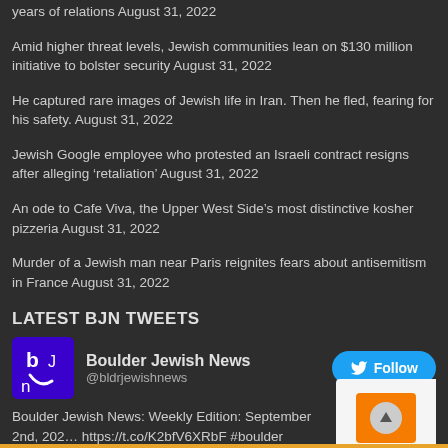years of relations August 31, 2022
Amid higher threat levels, Jewish communities lean on $130 million initiative to bolster security August 31, 2022
He captured rare images of Jewish life in Iran. Then he fled, fearing for his safety. August 31, 2022
Jewish Google employee who protested an Israeli contract resigns after alleging ‘retaliation’ August 31, 2022
An ode to Cafe Viva, the Upper West Side’s most distinctive kosher pizzeria August 31, 2022
Murder of a Jewish man near Paris reignites fears about antisemitism in France August 31, 2022
LATEST BJN TWEETS
Boulder Jewish News @bldrjewishnews
Boulder Jewish News: Weekly Edition: September 2nd, 202… https://t.co/K2bfV6XRbF #boulder
about 3 days ago